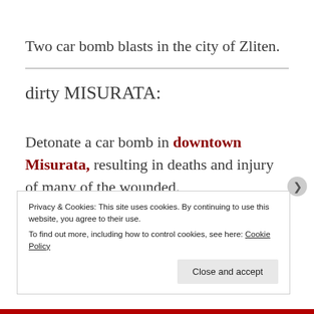Two car bomb blasts in the city of Zliten.
dirty MISURATA:
Detonate a car bomb in downtown Misurata, resulting in deaths and injury of many of the wounded.
Privacy & Cookies: This site uses cookies. By continuing to use this website, you agree to their use. To find out more, including how to control cookies, see here: Cookie Policy
Close and accept